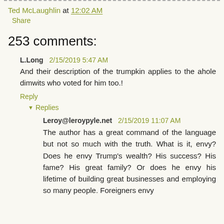Ted McLaughlin at 12:02 AM
Share
253 comments:
L.Long  2/15/2019 5:47 AM
And their description of the trumpkin applies to the ahole dimwits who voted for him too.!
Reply
Replies
Leroy@leroypyle.net  2/15/2019 11:07 AM
The author has a great command of the language but not so much with the truth. What is it, envy? Does he envy Trump's wealth? His success? His fame? His great family? Or does he envy his lifetime of building great businesses and employing so many people. Foreigners envy